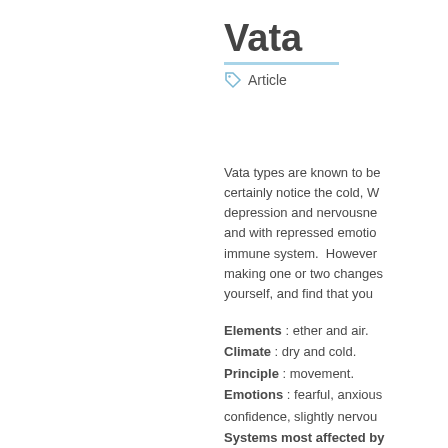Vata
Article
Vata types are known to be certainly notice the cold, W depression and nervousne and with repressed emotio immune system.  However making one or two changes yourself, and find that you
Elements : ether and air.
Climate : dry and cold.
Principle : movement.
Emotions : fearful, anxious confidence, slightly nervou
Systems most affected by the colon.
Symptoms of excess vata: circulation, dry skin, outbre nerve disorders.
The vata body type is usu